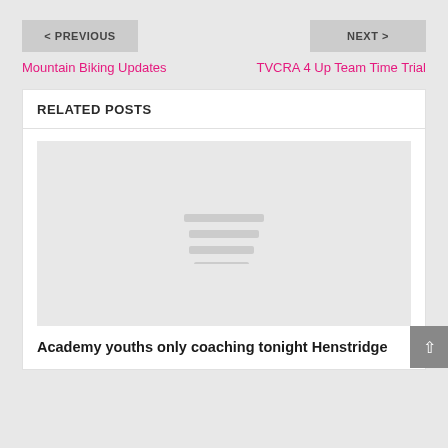< PREVIOUS
NEXT >
Mountain Biking Updates
TVCRA 4 Up Team Time Trial
RELATED POSTS
[Figure (illustration): Placeholder image with three horizontal lines in the center representing a missing or loading image]
Academy youths only coaching tonight Henstridge